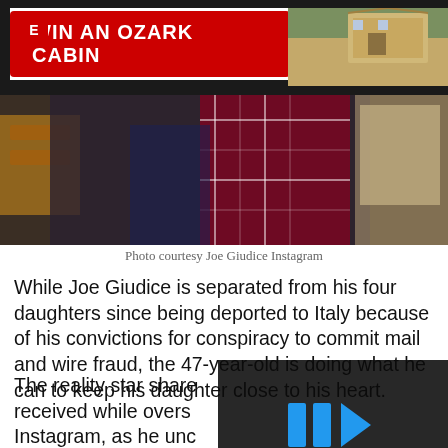[Figure (screenshot): Advertisement banner: WIN AN OZARK CABIN with red button, logo icon top-left, cabin photo on right]
[Figure (photo): Photo of Joe Giudice wearing dark jacket with plaid/Burberry scarf]
Photo courtesy Joe Giudice Instagram
While Joe Giudice is separated from his four daughters since being deported to Italy because of his convictions for conspiracy to commit mail and wire fraud, the 47-year-old is doing what he can to keep his daughter close to his heart.
The reality star share received while overs Instagram, as he unc tattoo, which he says
[Figure (screenshot): Video player overlay with blue play bars icon and mute button]